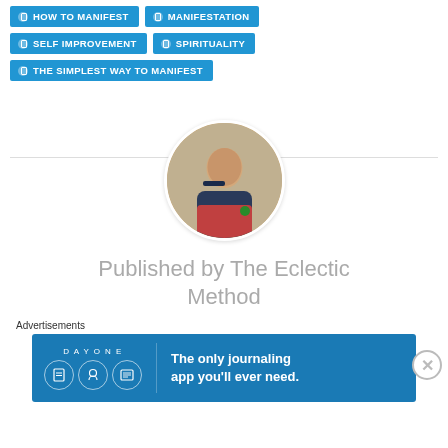HOW TO MANIFEST
MANIFESTATION
SELF IMPROVEMENT
SPIRITUALITY
THE SIMPLEST WAY TO MANIFEST
[Figure (photo): Circular profile photo of a young man sitting in a dark seat, wearing a navy t-shirt and red pants, holding something up to his face, with a watch on his wrist.]
Published by The Eclectic Method
Advertisements
[Figure (screenshot): Day One journaling app advertisement banner on blue background. Shows three circular icons with illustrations and text: 'The only journaling app you'll ever need.']